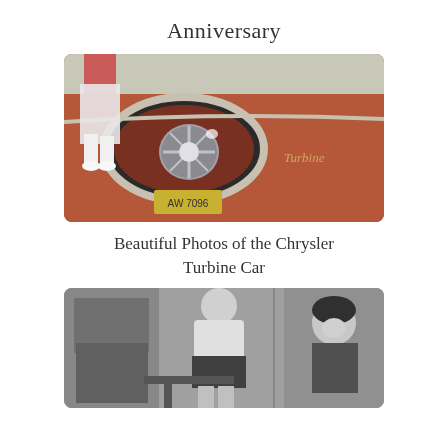Anniversary
[Figure (photo): Close-up photo of the rear side of a bronze/copper colored Chrysler Turbine Car, showing jet-exhaust styled tail fin, chrome trim, turbine emblem badge reading 'Turbine', and a license plate reading 'AW 7096'. A person in white pants stands in the background.]
Beautiful Photos of the Chrysler Turbine Car
[Figure (photo): Black and white photo showing two women, one seated at a counter or table, the other standing. Retro 1960s style setting.]